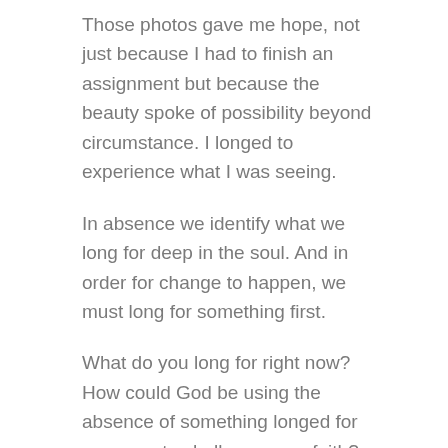Those photos gave me hope, not just because I had to finish an assignment but because the beauty spoke of possibility beyond circumstance. I longed to experience what I was seeing.
In absence we identify what we long for deep in the soul. And in order for change to happen, we must long for something first.
What do you long for right now? How could God be using the absence of something longed for as a way to challenge your faith?